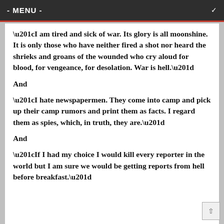- MENU -
“I am tired and sick of war. Its glory is all moonshine. It is only those who have neither fired a shot nor heard the shrieks and groans of the wounded who cry aloud for blood, for vengeance, for desolation. War is hell.”
And
“I hate newspapermen. They come into camp and pick up their camp rumors and print them as facts. I regard them as spies, which, in truth, they are.”
And
“If I had my choice I would kill every reporter in the world but I am sure we would be getting reports from hell before breakfast.”